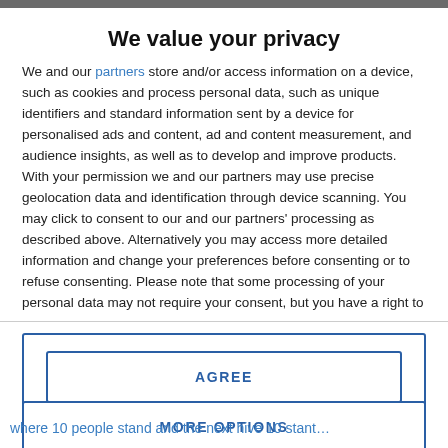We value your privacy
We and our partners store and/or access information on a device, such as cookies and process personal data, such as unique identifiers and standard information sent by a device for personalised ads and content, ad and content measurement, and audience insights, as well as to develop and improve products. With your permission we and our partners may use precise geolocation data and identification through device scanning. You may click to consent to our and our partners' processing as described above. Alternatively you may access more detailed information and change your preferences before consenting or to refuse consenting. Please note that some processing of your personal data may not require your consent, but you have a right to
AGREE
MORE OPTIONS
where 10 people stand and the next hive 10 stant ...